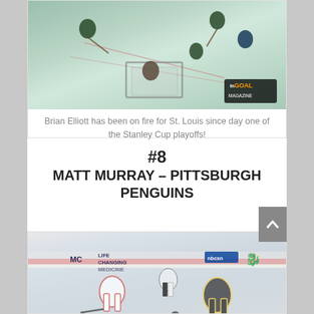[Figure (photo): Aerial/overhead view of hockey rink with players and goal net, InGoal Magazine watermark in bottom right]
Brian Elliott has been on fire for St. Louis since day one of the Stanley Cup playoffs!
#8
MATT MURRAY – PITTSBURGH PENGUINS
[Figure (photo): Ice hockey game action photo showing players on the rink with UPMC Life Changing Medicine banner and NBC Sports logo visible]